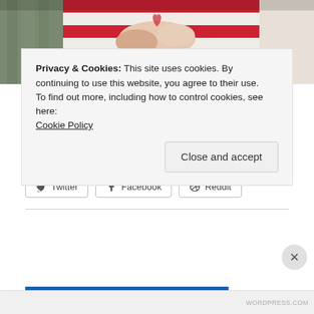[Figure (photo): Photo of two people shaking hands in front of an American flag, one person in military camouflage uniform]
Finally, Congress Passes Billions for Camp Lejeune Families
TruLaw
Share this:
Twitter Facebook Reddit
Privacy & Cookies: This site uses cookies. By continuing to use this website, you agree to their use.
To find out more, including how to control cookies, see here:
Cookie Policy
Close and accept